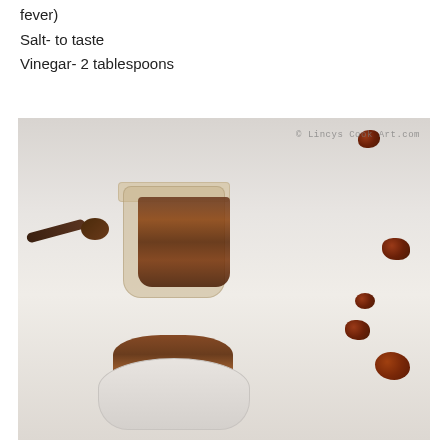fever)
Salt- to taste
Vinegar- 2 tablespoons
[Figure (photo): Food photo showing a glass jar filled with dark reddish-brown chutney/pickle, a wooden spoon to the left, a small white bowl filled with the same chutney in the foreground, and scattered dried red fruits/berries on a light grey surface. Watermark reads '© Lincys Cook Art.com']